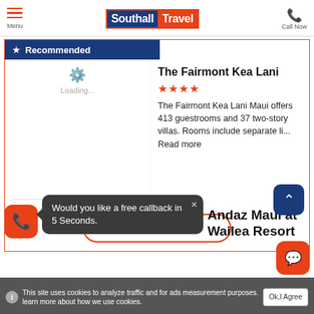Menu | Southall Travel | Call Now
Recommended
The Fairmont Kea Lani
★★★★
The Fairmont Kea Lani Maui offers 413 guestrooms and 37 two-story villas. Rooms include separate li... Read more
View Details
Andaz Maui at Wailea Resort
Would you like a free callback in 5 Seconds.
This site uses cookies to analyze traffic and for ads measurement purposes. learn more about how we use cookies. Ok, I Agree